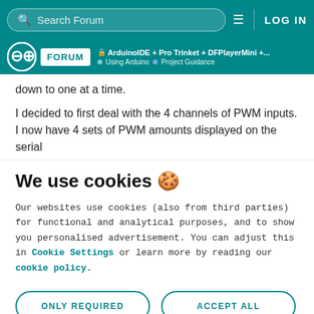Search Forum | LOG IN
Arduino FORUM | ArduinoIDE + Pro Trinket + DFPlayerMini +... | Using Arduino > Project Guidance
down to one at a time.
I decided to first deal with the 4 channels of PWM inputs. I now have 4 sets of PWM amounts displayed on the serial
We use cookies 🍪
Our websites use cookies (also from third parties) for functional and analytical purposes, and to show you personalised advertisement. You can adjust this in Cookie Settings or learn more by reading our cookie policy.
ONLY REQUIRED
ACCEPT ALL